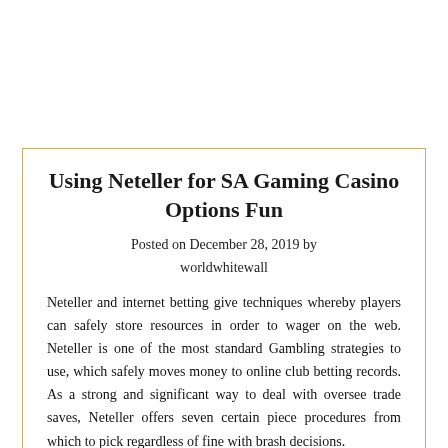Using Neteller for SA Gaming Casino Options Fun
Posted on December 28, 2019 by worldwhitewall
Neteller and internet betting give techniques whereby players can safely store resources in order to wager on the web. Neteller is one of the most standard Gambling strategies to use, which safely moves money to online club betting records. As a strong and significant way to deal with oversee trade saves, Neteller offers seven certain piece procedures from which to pick regardless of fine with brash decisions.